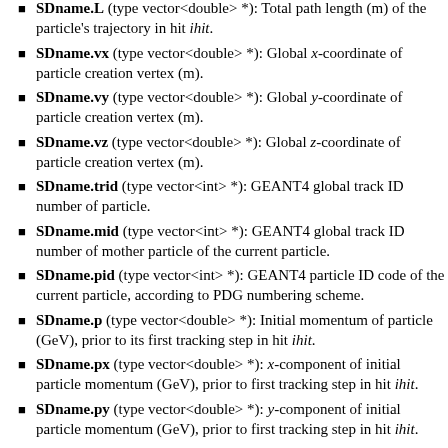SDname.L (type vector<double> *): Total path length (m) of the particle's trajectory in hit ihit.
SDname.vx (type vector<double> *): Global x-coordinate of particle creation vertex (m).
SDname.vy (type vector<double> *): Global y-coordinate of particle creation vertex (m).
SDname.vz (type vector<double> *): Global z-coordinate of particle creation vertex (m).
SDname.trid (type vector<int> *): GEANT4 global track ID number of particle.
SDname.mid (type vector<int> *): GEANT4 global track ID number of mother particle of the current particle.
SDname.pid (type vector<int> *): GEANT4 particle ID code of the current particle, according to PDG numbering scheme.
SDname.p (type vector<double> *): Initial momentum of particle (GeV), prior to its first tracking step in hit ihit.
SDname.px (type vector<double> *): x-component of initial particle momentum (GeV), prior to first tracking step in hit ihit.
SDname.py (type vector<double> *): y-component of initial particle momentum (GeV), prior to first tracking step in hit ihit.